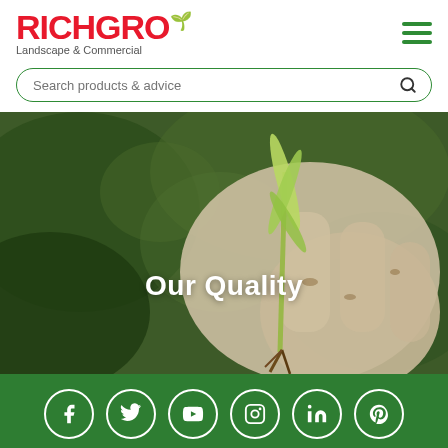[Figure (logo): Richgro logo with red bold text and green leaf accent, subtitle 'Landscape & Commercial']
[Figure (screenshot): Search bar with green rounded border, placeholder text 'Search products & advice' and search icon]
[Figure (photo): Hero banner photo of gloved hand holding a small seedling plant with roots, blurred green background, text 'Our Quality' overlaid in white bold]
[Figure (infographic): Dark green footer bar with six white circular social media icons: Facebook, Twitter, YouTube, Instagram, LinkedIn, Pinterest]